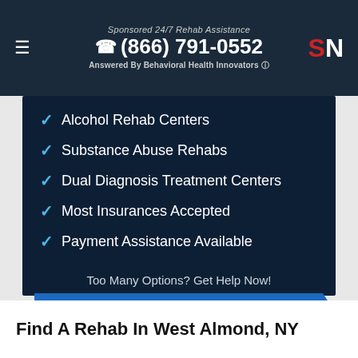Sponsored 24/7 Rehab Assistance
☎ (866) 791-0552
Answered By Behavioral Health Innovators
Alcohol Rehab Centers
Substance Abuse Rehabs
Dual Diagnosis Treatment Centers
Most Insurances Accepted
Payment Assistance Available
Too Many Options? Get Help Now!
CALL NOW (866) 791-0552
(Who Answers?)
Find A Rehab In West Almond, NY